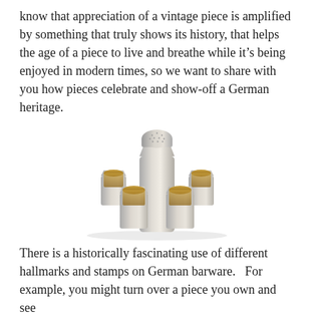know that appreciation of a vintage piece is amplified by something that truly shows its history, that helps the age of a piece to live and breathe while it's being enjoyed in modern times, so we want to share with you how pieces celebrate and show-off a German heritage.
[Figure (photo): A silver cocktail shaker with a perforated lid surrounded by four small gold-interior silver shot cups arranged in a semi-circle in front of it.]
There is a historically fascinating use of different hallmarks and stamps on German barware.   For example, you might turn over a piece you own and see